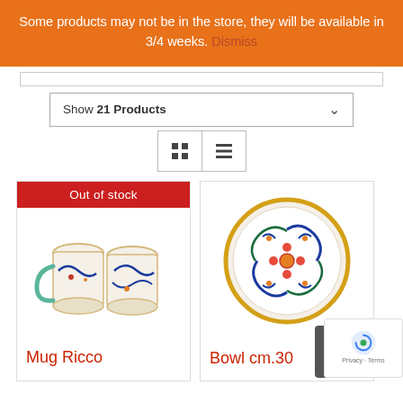Some products may not be in the store, they will be available in 3/4 weeks. Dismiss
Show 21 Products
[Figure (screenshot): Grid and list view toggle buttons]
[Figure (photo): Two ceramic mugs with Ricco pattern (blue floral designs on white), with an Out of stock banner]
Mug Ricco
[Figure (photo): Ceramic decorative plate cm.30 with Ricco pattern (blue and orange floral design on white with gold rim)]
Bowl cm.30